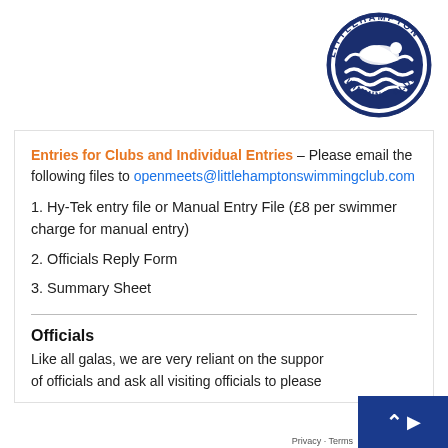[Figure (logo): Littlehampton Swimming Club circular logo with a swimmer and waves, dark navy blue, text around the circle reading LITTLEHAMPTON SWIMMING CLUB]
Entries for Clubs and Individual Entries – Please email the following files to openmeets@littlehamptonswimmingclub.com
1. Hy-Tek entry file or Manual Entry File (£8 per swimmer charge for manual entry)
2. Officials Reply Form
3. Summary Sheet
Officials
Like all galas, we are very reliant on the support of officials and ask all visiting officials to please